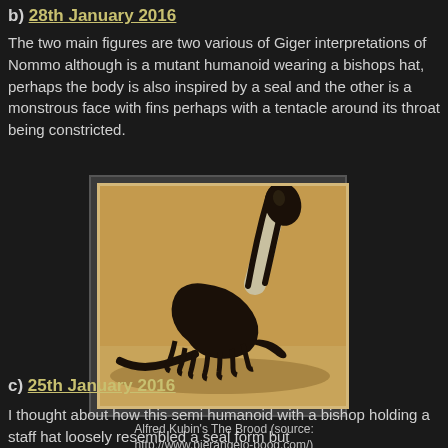b) 28th January 2016
The two main figures are two various of Giger interpretations of Nommo although is a mutant humanoid wearing a bishops hat, perhaps the body is also inspired by a seal and the other is a monstrous face with fins perhaps with a tentacle around its throat being constricted.
[Figure (illustration): Alfred Kubin's The Brood - a dark illustration showing a long-necked creature resembling a seal or dinosaur with multiple legs/fins, dark body with a pale elongated neck, rendered in sepia/brown tones]
Alfred Kubin's The Brood (source: http://www.pierangelo-boog.com/)
c) 25th January 2016
I thought about how this semi humanoid with a bishop holding a staff hat loosely resembled a seal form but